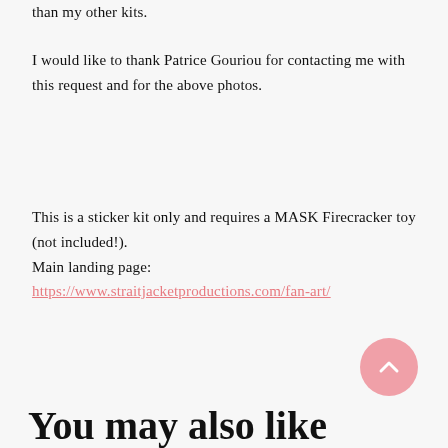than my other kits.
I would like to thank Patrice Gouriou for contacting me with this request and for the above photos.
This is a sticker kit only and requires a MASK Firecracker toy (not included!).
Main landing page:
https://www.straitjacketproductions.com/fan-art/
You may also like